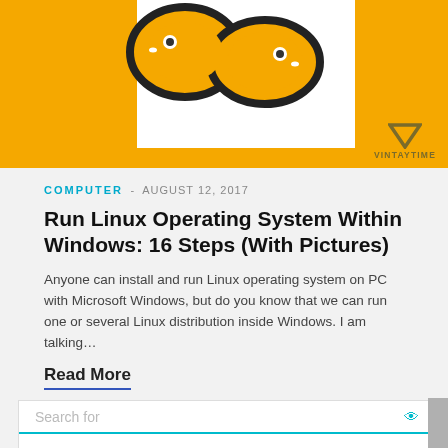[Figure (illustration): Yellow banner with Python snake logo over white Windows-style box, and VINTAYTIME triangle logo in bottom right]
COMPUTER - AUGUST 12, 2017
Run Linux Operating System Within Windows: 16 Steps (With Pictures)
Anyone can install and run Linux operating system on PC with Microsoft Windows, but do you know that we can run one or several Linux distribution inside Windows. I am talking…
Read More
Search for
1. FLEET MAINTENANCE SOFTWARE →
2. GET THE BEST EYE WRINKLE SERUM →
Yahoo! Search | Sponsored